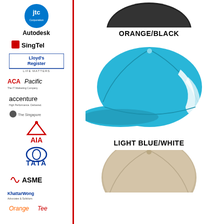[Figure (illustration): Left sidebar with company logos: jtc, Autodesk, SingTel, Lloyd's Register LIFE MATTERS, ACA-Pacific, accenture, (small logo), AIA, TATA, ASME, KhattarWong, OrangeTee]
[Figure (photo): Orange/Black baseball cap viewed from front, partial view at top]
ORANGE/BLACK
[Figure (photo): Light Blue/White baseball cap with white stripe design, full view]
LIGHT BLUE/WHITE
[Figure (photo): Beige/tan baseball cap, partial view at bottom]